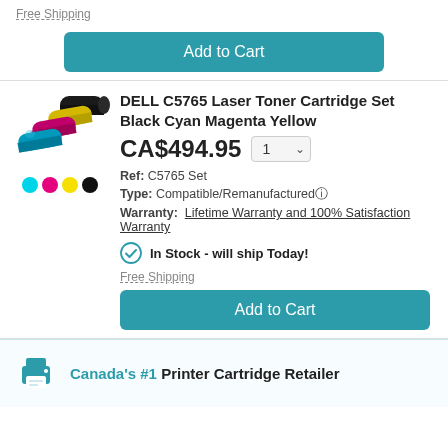Free Shipping
Add to Cart
DELL C5765 Laser Toner Cartridge Set Black Cyan Magenta Yellow
CA$494.95
Ref: C5765 Set
Type: Compatible/Remanufactured
Warranty: Lifetime Warranty and 100% Satisfaction Warranty
[Figure (photo): Four Dell C5765 toner cartridges (black, magenta, cyan, yellow) arranged together]
In Stock - will ship Today!
Free Shipping
Add to Cart
Canada's #1 Printer Cartridge Retailer